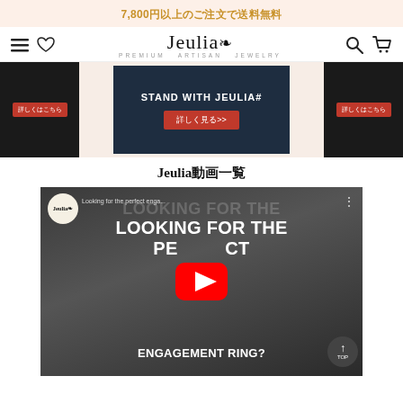7,800円以上のご注文で送料無料
[Figure (logo): Jeulia Premium Artisan Jewelry logo with navigation icons (hamburger menu, heart, search, cart)]
[Figure (screenshot): Hero banner with dark navy center panel reading STAND WITH JEULIA# with 詳しく見る>> red button, flanked by dark side panels with red buttons]
Jeulia動画一覧
[Figure (screenshot): YouTube video thumbnail showing 'Looking for the perfect enga...' by Jeulia, with large text LOOKING FOR THE PERFECT ENGAGEMENT RING? overlaid, YouTube play button in center, and a man examining a ring. TOP scroll button visible at bottom right.]